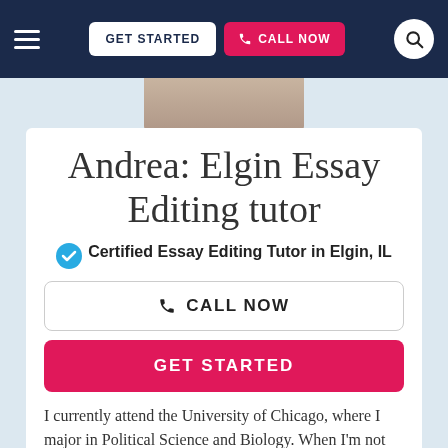GET STARTED  CALL NOW
Andrea: Elgin Essay Editing tutor
Certified Essay Editing Tutor in Elgin, IL
CALL NOW
GET STARTED
I currently attend the University of Chicago, where I major in Political Science and Biology. When I'm not spending hours